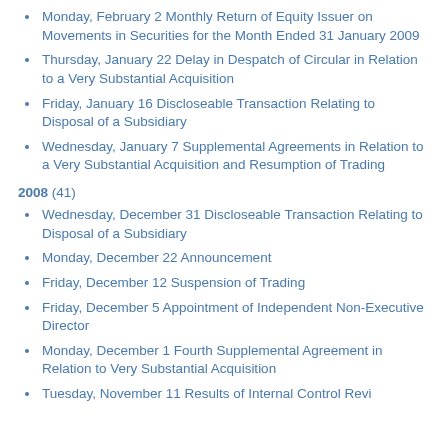Monday, February 2 Monthly Return of Equity Issuer on Movements in Securities for the Month Ended 31 January 2009
Thursday, January 22 Delay in Despatch of Circular in Relation to a Very Substantial Acquisition
Friday, January 16 Discloseable Transaction Relating to Disposal of a Subsidiary
Wednesday, January 7 Supplemental Agreements in Relation to a Very Substantial Acquisition and Resumption of Trading
2008 (41)
Wednesday, December 31 Discloseable Transaction Relating to Disposal of a Subsidiary
Monday, December 22 Announcement
Friday, December 12 Suspension of Trading
Friday, December 5 Appointment of Independent Non-Executive Director
Monday, December 1 Fourth Supplemental Agreement in Relation to Very Substantial Acquisition
Tuesday, November 11 Results of Internal Control Review